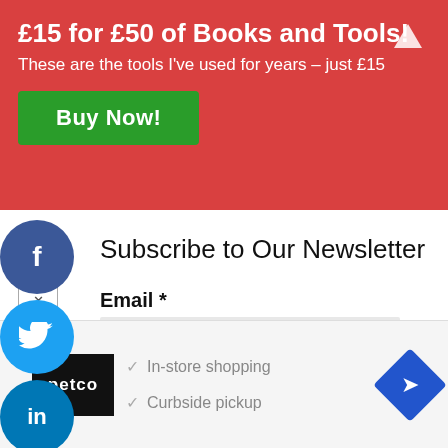£15 for £50 of Books and Tools!
These are the tools I've used for years – just £15
Buy Now!
Subscribe to Our Newsletter
Email *
Your Consent *
I consent to Gamified UK using this information to send me newsletters on weekly basis
[Figure (screenshot): Petco advertisement banner with In-store shopping and Curbside pickup options with navigation icon]